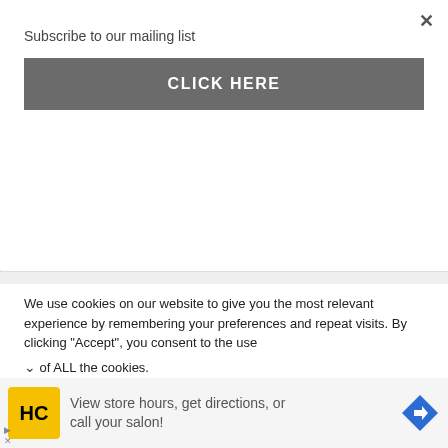Subscribe to our mailing list
CLICK HERE
[Figure (logo): High Point University banner with white serif text on purple background]
We use cookies on our website to give you the most relevant experience by remembering your preferences and repeat visits. By clicking “Accept”, you consent to the use of ALL the cookies.
[Figure (infographic): Advertisement: HC logo (yellow circle), text 'View store hours, get directions, or call your salon!', blue diamond arrow icon]